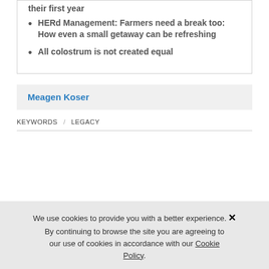their first year
HERd Management: Farmers need a break too: How even a small getaway can be refreshing
All colostrum is not created equal
Meagen Koser
KEYWORDS   LEGACY
We use cookies to provide you with a better experience. By continuing to browse the site you are agreeing to our use of cookies in accordance with our Cookie Policy.